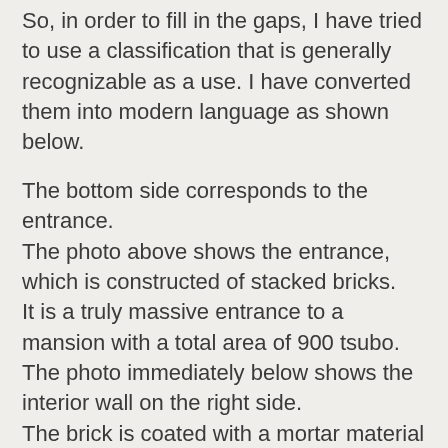So, in order to fill in the gaps, I have tried to use a classification that is generally recognizable as a use. I have converted them into modern language as shown below.
The bottom side corresponds to the entrance. The photo above shows the entrance, which is constructed of stacked bricks. It is a truly massive entrance to a mansion with a total area of 900 tsubo. The photo immediately below shows the interior wall on the right side. The brick is coated with a mortar material called “stucco. The roof, which appears to be made of wood in the restored state, is covered with a stucco. This may be a matter of imagination. It is possible that the building was covered with this protective covering in order to maintain the building for